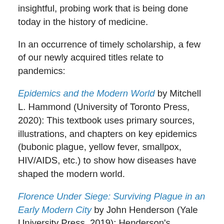insightful, probing work that is being done today in the history of medicine.
In an occurrence of timely scholarship, a few of our newly acquired titles relate to pandemics:
Epidemics and the Modern World by Mitchell L. Hammond (University of Toronto Press, 2020): This textbook uses primary sources, illustrations, and chapters on key epidemics (bubonic plague, yellow fever, smallpox, HIV/AIDS, etc.) to show how diseases have shaped the modern world.
Florence Under Siege: Surviving Plague in an Early Modern City by John Henderson (Yale University Press, 2019): Henderson's treatment of the plague in Florence in 1630-31 provides a nuanced, detailed look at this year in the city's history, with emphasis on the strategies that the